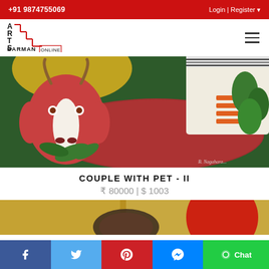+91 9874755069  Login | Register
[Figure (logo): Arts Barman Online logo with stylized staircase letters A R T S and text BARMAN ONLINE]
[Figure (photo): Painting of a red goat with white face and horns, surrounded by green leaves, with a couple partially visible in the background. Signed by artist. Title: Couple With Pet - II]
COUPLE WITH PET - II
₹ 80000 | $ 1003
[Figure (photo): Partial view of another artwork with gold and red textures]
Facebook | Twitter | Pinterest | Messenger | Chat